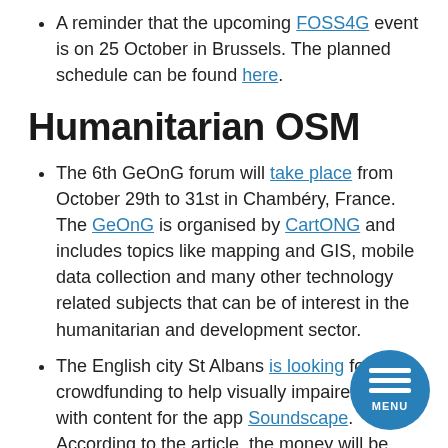A reminder that the upcoming FOSS4G event is on 25 October in Brussels. The planned schedule can be found here.
Humanitarian OSM
The 6th GeOnG forum will take place from October 29th to 31st in Chambéry, France. The GeOnG is organised by CartONG and includes topics like mapping and GIS, mobile data collection and many other technology related subjects that can be of interest in the humanitarian and development sector.
The English city St Albans is looking for crowdfunding to help visually impaired people with content for the app Soundscape. According to the article, the money will be used for a mapathon to train volunteers in OSM, verification and ongoing data maintenance.